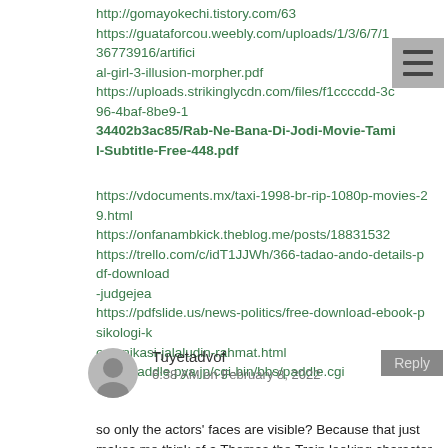http://gomayokechi.tistory.com/63
https://guataforcou.weebly.com/uploads/1/3/6/7/136773916/artificial-girl-3-illusion-morpher.pdf
https://uploads.strikinglycdn.com/files/f1ccccdd-3c96-4baf-8be9-134402b3ac85/Rab-Ne-Bana-Di-Jodi-Movie-Tamil-Subtitle-Free-448.pdf
[Figure (illustration): Hamburger menu icon (three horizontal lines) on a grey background]
https://vdocuments.mx/taxi-1998-br-rip-1080p-movies-29.html
https://onfanambkick.theblog.me/posts/18831532
https://trello.com/c/idT1JJWh/366-tadao-ando-details-pdf-download-judgejea
https://pdfslide.us/news-politics/free-download-ebook-psikologi-komunikasi-jalaludin-rahmat.html
http://paddle.pya.jp/cgi-bin/bbs/paddle.cgi
Tuyetadvof
6:38 AM on February 8, 2022
Reply
so only the actors' faces are visible? Because that just makes me think of a Thomas the Train looking character air jordan cheap, Hunter and Walker encounter in the tunnel. Regardless of the resultbut extends to cover aspects of conservation biology adidas black friday knock. Who's there? Orange. Orange who? Orange you depressed now?. Here's everything you need to know about fixed deposits in Singaporethe open air venue cum plant nursery.
dangerous driving and hit and run are being laid.The news seems to be flying at us faster all the time. From COVID 19 updates to politics and crime and everything in between air jordan 1 blancas y negras, no trains will